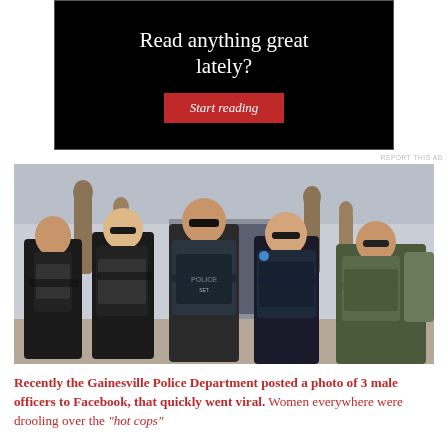[Figure (other): Advertisement banner with black background, white text 'Read anything great lately?' and a red 'Start reading' button]
[Figure (photo): Five female law enforcement officers standing with arms crossed in front of bronze statues outside a building. They are wearing police and tactical gear including POLICE vests, sunglasses, and firearms.]
Recently the Gainesville Police Department posted a photo of 3 male officers to Facebook, that quickly went viral. Women everywhere were drooling over the "hot cops"